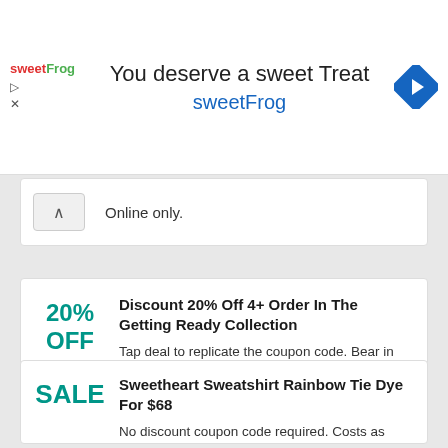[Figure (logo): sweetFrog logo and advertisement banner with navigation arrow icon]
Online only.
Discount 20% Off 4+ Order In The Getting Ready Collection
Tap deal to replicate the coupon code. Bear in mind to paste code when you check out. Online only.
Sweetheart Sweatshirt Rainbow Tie Dye For $68
No discount coupon code required. Costs as significant. Tap to shop the sale now.